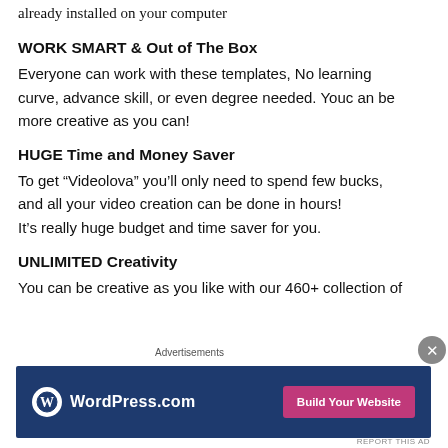already installed on your computer
WORK SMART & Out of The Box
Everyone can work with these templates, No learning curve, advance skill, or even degree needed. Youc an be more creative as you can!
HUGE Time and Money Saver
To get “Videolova” you’ll only need to spend few bucks, and all your video creation can be done in hours! It’s really huge budget and time saver for you.
UNLIMITED Creativity
You can be creative as you like with our 460+ collection of
Advertisements
[Figure (screenshot): WordPress.com advertisement banner with blue background, WordPress logo on left, and 'Build Your Website' pink button on right]